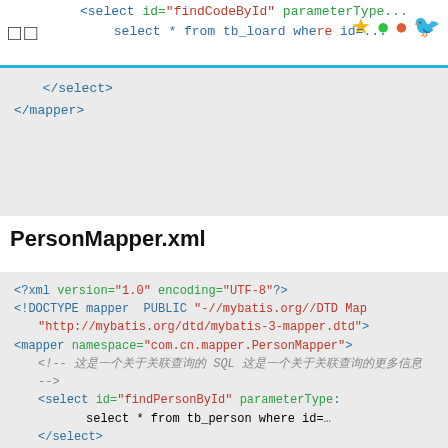□□
</select>
</mapper>
PersonMapper.xml
<?xml version="1.0" encoding="UTF-8"?>
<!DOCTYPE mapper  PUBLIC "-//mybatis.org//DTD Map
    "http://mybatis.org/dtd/mybatis-3-mapper.dtd">
<mapper namespace="com.cn.mapper.PersonMapper">
    <!-- 这是一个关于关联查询的 SQL 这是一个关于关联查询的更多信息 -->
    <select id="findPersonById" parameterType=
            select * from tb_person where id=
    </select>
    <resultMap type="Person" id="IdCardWithPe
        <id property="id" column="id"/>
        <result property="name" column="n
        <result property="age" column="ag
        <result property="sex" column="se
        <!-- 配置association 标签 select 更多
    <association property="card" colu